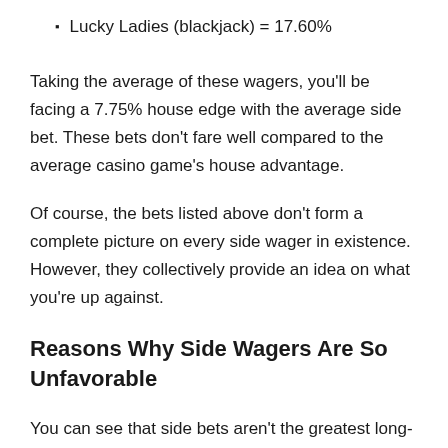Lucky Ladies (blackjack) = 17.60%
Taking the average of these wagers, you'll be facing a 7.75% house edge with the average side bet. These bets don't fare well compared to the average casino game's house advantage.
Of course, the bets listed above don't form a complete picture on every side wager in existence. However, they collectively provide an idea on what you're up against.
Reasons Why Side Wagers Are So Unfavorable
You can see that side bets aren't the greatest long-term propositions. Here are the main reasons why these wagers are so much worse than common casino bets.